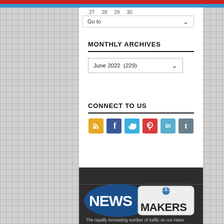27  28  29  30
MONTHLY ARCHIVES
June 2022  (229)
CONNECT TO US
[Figure (infographic): Social media icon buttons: RSS (yellow/orange), Facebook (blue), Twitter (light blue), Pinterest (red), LinkedIn (cyan), Tumblr (gray-blue)]
[Figure (logo): NewsMakers logo: NEWS in white bold text on dark blue elliptical background, MAKERS in bold dark text on light gray rounded box with globe icon]
The rapidly increasing number of traffic on our news website is the indication that this website comes among Pakistan's favorite online news websites when it comes to